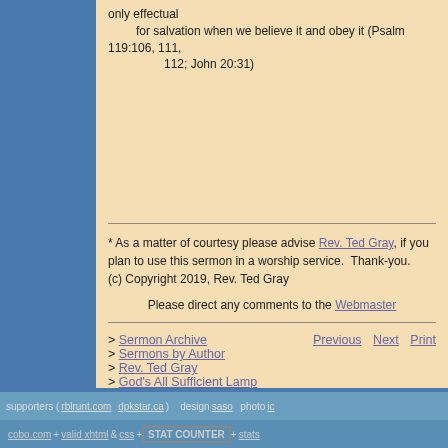only effectual
    for salvation when we believe it and obey it (Psalm 119:106, 111,
        112; John 20:31)
* As a matter of courtesy please advise Rev. Ted Gray, if you plan to use this sermon in a worship service.  Thank-you.
(c) Copyright 2019, Rev. Ted Gray
Please direct any comments to the Webmaster
> Sermon Archive
> Sermons by Author
> Rev. Ted Gray
> God's All Sufficient Lamp
Previous  Next  Print
supporters ( rblrunt.com   dpkstar.ca )   design saso   photo ic
cobo.com + valid xhtml & css + STAT COUNTER + stats